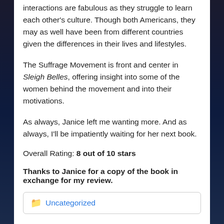interactions are fabulous as they struggle to learn each other's culture. Though both Americans, they may as well have been from different countries given the differences in their lives and lifestyles.
The Suffrage Movement is front and center in Sleigh Belles, offering insight into some of the women behind the movement and into their motivations.
As always, Janice left me wanting more. And as always, I'll be impatiently waiting for her next book.
Overall Rating: 8 out of 10 stars
Thanks to Janice for a copy of the book in exchange for my review.
Uncategorized